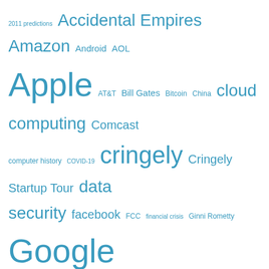[Figure (infographic): Tag cloud of technology-related topics in blue text at various sizes: 2011 predictions, Accidental Empires, Amazon, Android, AOL, Apple (largest), AT&T, Bill Gates, Bitcoin, China, cloud computing, Comcast, computer history, COVID-19, cringely (large), Cringely Startup Tour, data security, facebook, FCC, financial crisis, Ginni Rometty, Google (very large), Hewlett Packard, HP, IBM (large), Intel (large), intellectual property, Internet, iphone, Kauffman Foundation, Microsoft (very large), Netflix, net neutrality, Obama Administration, Oracle, Sony, Steve Ballmer, Steve Jobs (very large), Tim Cook, Trump, venture capital, Verizon, Windows 8, Yahoo (large), YouTube]
[Figure (infographic): Donate button (yellow/gold rounded rectangle with bold text 'Donate') and payment card icons (Visa, Mastercard, Maestro, American Express, Discover, Diners Club)]